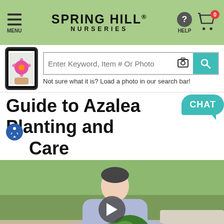[Figure (screenshot): Spring Hill Nurseries website header with green background, hamburger menu icon labeled MENU, Spring Hill Nurseries logo, help icon, and shopping cart with 0 badge]
[Figure (screenshot): Search bar section with phone showing flower image, text input 'Enter Keyword, Item # Or Photo', camera icon, teal search button, and hint text 'Not sure what it is? Load a photo in our search bar!']
Guide to Azalea Planting and Care
[Figure (photo): Video thumbnail showing a young man in a light blue shirt planting or tending to an azalea shrub outdoors, with a play button overlay]